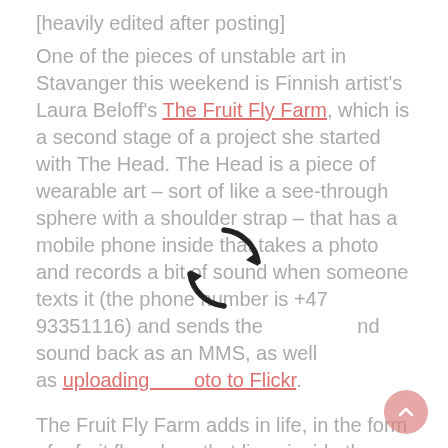[heavily edited after posting] One of the pieces of unstable art in Stavanger this weekend is Finnish artist's Laura Beloff's The Fruit Fly Farm, which is a second stage of a project she started with The Head. The Head is a piece of wearable art – sort of like a see-through sphere with a shoulder strap – that has a mobile phone inside that takes a photo and records a bit of sound when someone texts it (the phone number is +47 93351116) and sends the photo and sound back as an MMS, as well as uploading the photo to Flickr.

The Fruit Fly Farm adds in life, in the form of a fruit fly colony that lives inside the sphere, along with enough rotting fruit to last them a week. The camera in this sphere takes photos from the point of view of the flies, I think, and can be SMSed at +47 93351116. You can see the most recent photos on her website. When you wear the farm you have what the artist calls "-a wearable fly farm, a
[Figure (illustration): Circular refresh/reload arrow icon (dark, two curved arrows forming a circle)]